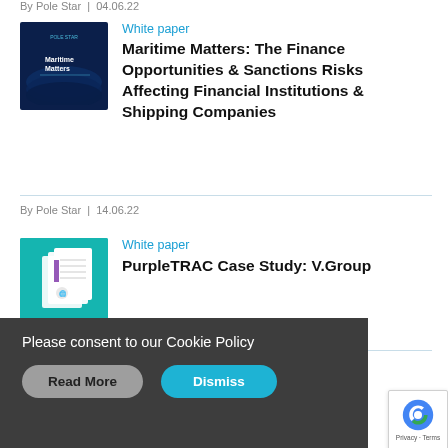By Pole Star | 04.06.22
White paper
Maritime Matters: The Finance Opportunities & Sanctions Risks Affecting Financial Institutions & Shipping Companies
By Pole Star | 14.06.22
White paper
PurpleTRAC Case Study: V.Group
Please consent to our Cookie Policy